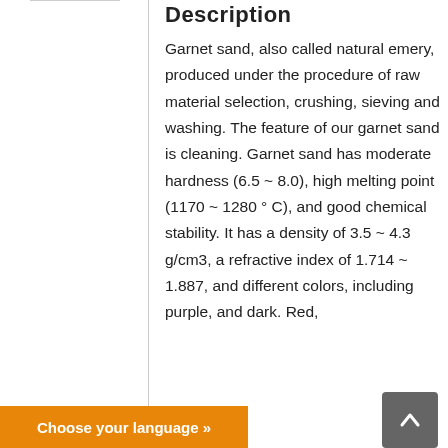Description
Garnet sand, also called natural emery, produced under the procedure of raw material selection, crushing, sieving and washing. The feature of our garnet sand is cleaning. Garnet sand has moderate hardness (6.5 ~ 8.0), high melting point (1170 ~ 1280 ° C), and good chemical stability. It has a density of 3.5 ~ 4.3 g/cm3, a refractive index of 1.714 ~ 1.887, and different colors, including purple, and dark. Red,